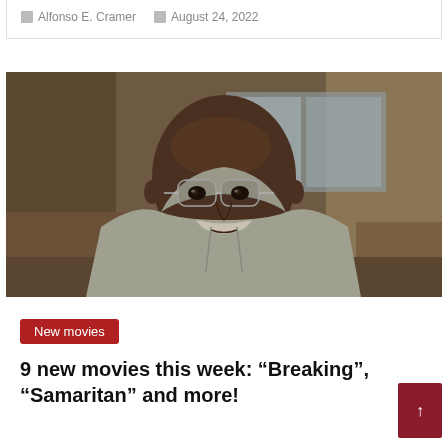Alfonso E. Cramer  |  August 24, 2022
[Figure (photo): A bald Black man wearing wire-framed glasses and a grey hoodie, looking at the camera with a serious expression. The background shows a blurred indoor setting.]
New movies
9 new movies this week: “Breaking”, “Samaritan” and more!